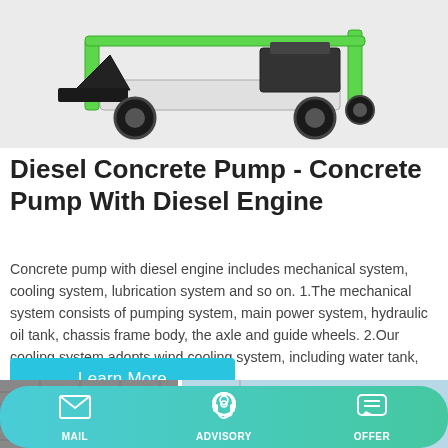[Figure (photo): Green and black diesel concrete pump machine photographed from above on a light grey background]
Diesel Concrete Pump - Concrete Pump With Diesel Engine
Concrete pump with diesel engine includes mechanical system, cooling system, lubrication system and so on. 1.The mechanical system consists of pumping system, main power system, hydraulic oil tank, chassis frame body, the axle and guide wheels. 2.Our cooling system adopts wind cooling system, including water tank, hydraulic motor, fan and the hose.
[Figure (other): Learn More button - cyan/teal colored rectangular button]
[Figure (photo): Partial view of construction site / building exterior at bottom of page]
MAIL   ADVISORY   OFFER